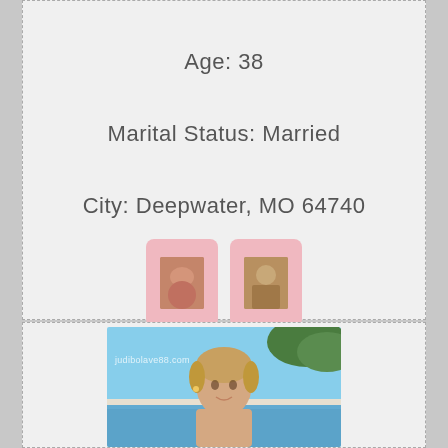Age: 38
Marital Status: Married
City: Deepwater, MO 64740
[Figure (photo): Two small thumbnail images on pink rounded-rectangle card backgrounds]
[Figure (photo): Photo of a woman near a swimming pool with watermark judibolave88.com]